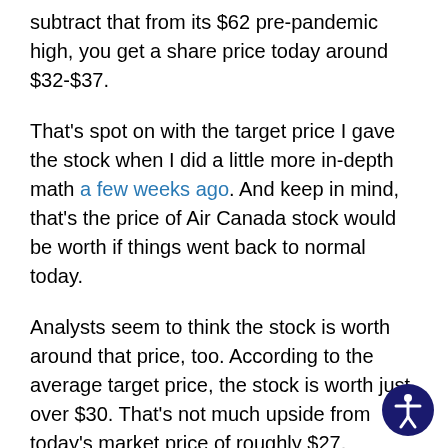subtract that from its $62 pre-pandemic high, you get a share price today around $32-$37.
That's spot on with the target price I gave the stock when I did a little more in-depth math a few weeks ago. And keep in mind, that's the price of Air Canada stock would be worth if things went back to normal today.
Analysts seem to think the stock is worth around that price, too. According to the average target price, the stock is worth just over $30. That's not much upside from today's market price of roughly $27.
Because there looks to be little upside and so